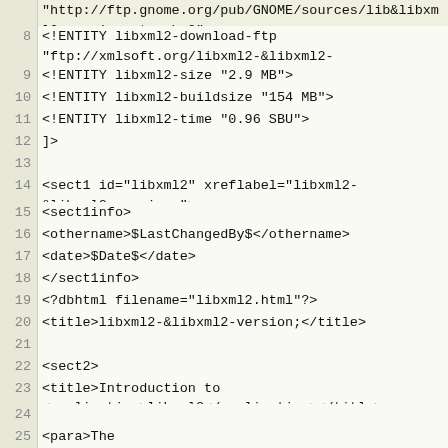"http://ftp.gnome.org/pub/GNOME/sources/lib&libxml2-version;.tar.bz2">
8  <!ENTITY libxml2-download-ftp "ftp://xmlsoft.org/libxml2-&libxml2-version;.tar.gz">
9  <!ENTITY libxml2-size "2.9 MB">
10 <!ENTITY libxml2-buildsize "154 MB">
11 <!ENTITY libxml2-time "0.96 SBU">
12 ]>
13
14 <sect1 id="libxml2" xreflabel="libxml2-&libxml2-version;">
15 <sect1info>
16 <othername>$LastChangedBy$</othername>
17 <date>$Date$</date>
18 </sect1info>
19 <?dbhtml filename="libxml2.html"?>
20 <title>libxml2-&libxml2-version;</title>
21
22 <sect2>
23 <title>Introduction to <application>libxml2</application></title>
24
25 <para>The